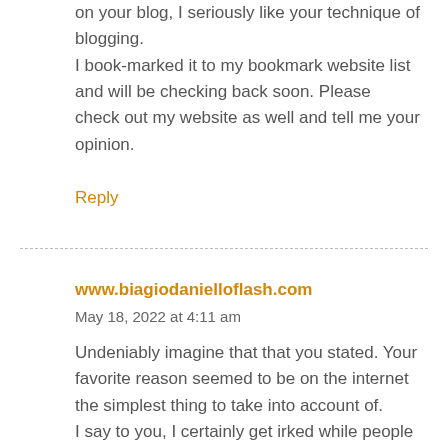on your blog, I seriously like your technique of blogging. I book-marked it to my bookmark website list and will be checking back soon. Please check out my website as well and tell me your opinion.
Reply
www.biagiodanielloflash.com
May 18, 2022 at 4:11 am
Undeniably imagine that that you stated. Your favorite reason seemed to be on the internet the simplest thing to take into account of. I say to you, I certainly get irked while people consider issues that they just do not